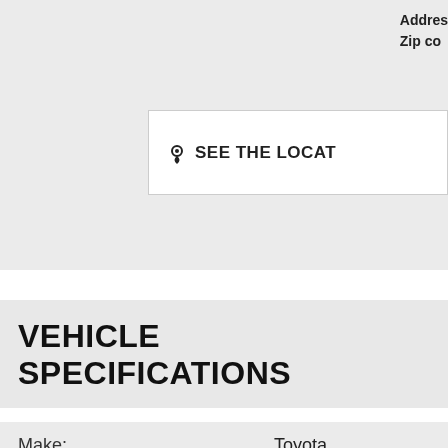Address:
Zip code:
SEE THE LOCATION
VEHICLE SPECIFICATIONS
| Field | Value |
| --- | --- |
| Make: | Toyota |
| Model: | Camry |
| Body type: | Sedan |
| Year: | 2008 |
| Mileage: | 120324 |
| Interior color: | Beige |
| Exterior color: | Gold |